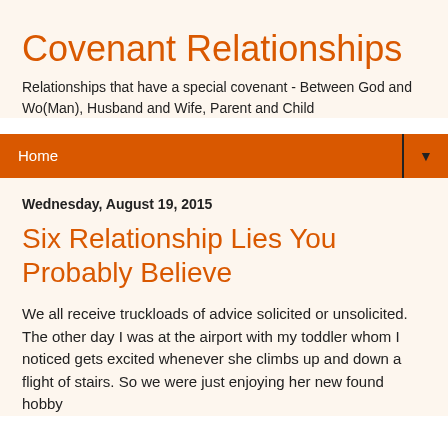Covenant Relationships
Relationships that have a special covenant - Between God and Wo(Man), Husband and Wife, Parent and Child
Home ▼
Wednesday, August 19, 2015
Six Relationship Lies You Probably Believe
We all receive truckloads of advice solicited or unsolicited. The other day I was at the airport with my toddler whom I noticed gets excited whenever she climbs up and down a flight of stairs. So we were just enjoying her new found hobby